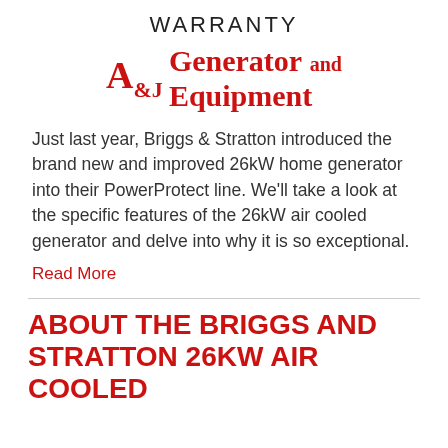WARRANTY
[Figure (logo): A&J Generator and Equipment logo in red serif font]
Just last year, Briggs & Stratton introduced the brand new and improved 26kW home generator into their PowerProtect line. We'll take a look at the specific features of the 26kW air cooled generator and delve into why it is so exceptional.
Read More
ABOUT THE BRIGGS AND STRATTON 26KW AIR COOLED